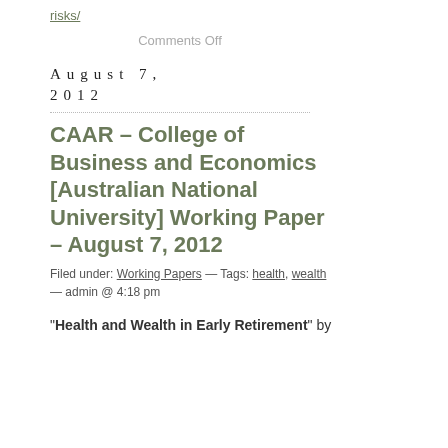risks/
Comments Off
August 7, 2012
CAAR – College of Business and Economics [Australian National University] Working Paper – August 7, 2012
Filed under: Working Papers — Tags: health, wealth — admin @ 4:18 pm
"Health and Wealth in Early Retirement" by